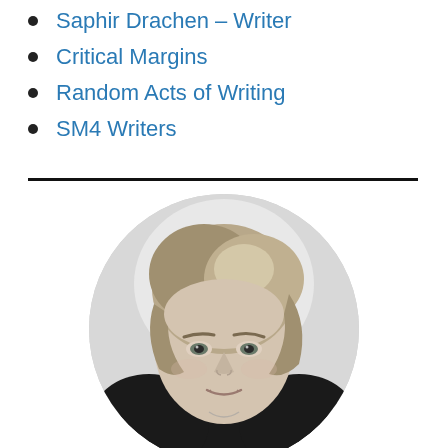Saphir Drachen – Writer
Critical Margins
Random Acts of Writing
SM4 Writers
[Figure (photo): Black and white circular portrait photo of a woman with shoulder-length blonde hair, wearing a dark top, smiling slightly, photographed against a light background.]